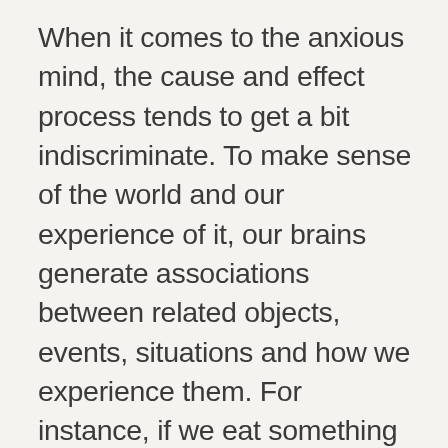When it comes to the anxious mind, the cause and effect process tends to get a bit indiscriminate. To make sense of the world and our experience of it, our brains generate associations between related objects, events, situations and how we experience them. For instance, if we eat something and later we feel unwell, it's likely that we would attribute the cause to the food being off. If we are late to a meeting because we took a phone call when we were getting ready, we might attribute the lateness to the phone call. Mostly these attributions help us to navigate our way through life, learning